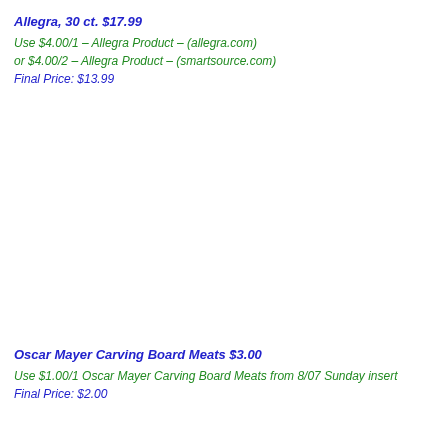Allegra, 30 ct. $17.99
Use $4.00/1 – Allegra Product – (allegra.com)
or $4.00/2 – Allegra Product – (smartsource.com)
Final Price: $13.99
Oscar Mayer Carving Board Meats $3.00
Use $1.00/1 Oscar Mayer Carving Board Meats from 8/07 Sunday insert
Final Price: $2.00